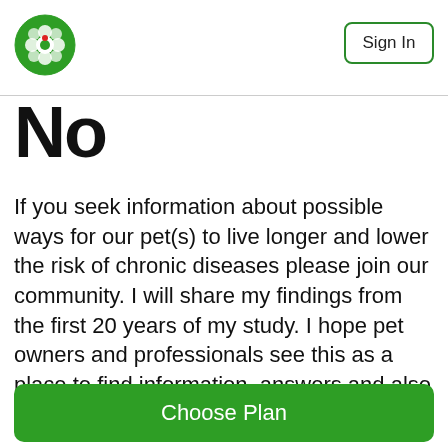Sign In
No
If you seek information about possible ways for our pet(s) to live longer and lower the risk of chronic diseases please join our community. I will share my findings from the first 20 years of my study. I hope pet owners and professionals see this as a place to find information, answers and also share their experiences to the benefit of everyone. I can't promise any kind of results, but I can share my observations and leave it up to you to make your own
Choose Plan